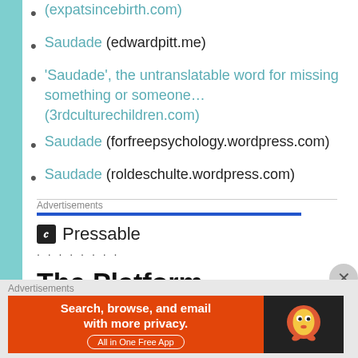(expatsincebirth.com)
Saudade (edwardpitt.me)
'Saudade', the untranslatable word for missing something or someone… (3rdculturechildren.com)
Saudade (forfreepsychology.wordpress.com)
Saudade (roldeschulte.wordpress.com)
Advertisements
[Figure (screenshot): Pressable advertisement showing 'The Platform Where WordPress Works Best' text with Pressable logo]
Advertisements
[Figure (screenshot): DuckDuckGo advertisement: Search, browse, and email with more privacy. All in One Free App]